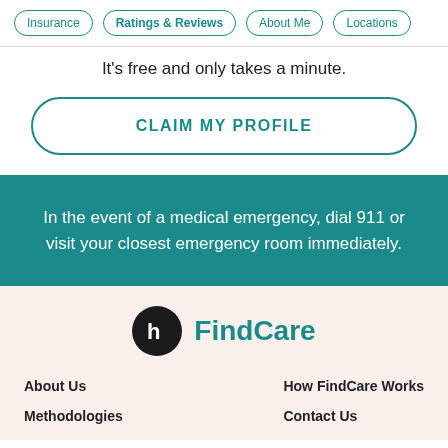Insurance | Ratings & Reviews | About Me | Locations
It's free and only takes a minute.
CLAIM MY PROFILE
In the event of a medical emergency, dial 911 or visit your closest emergency room immediately.
[Figure (logo): FindCare logo with black circle containing white 'h' icon and teal 'FindCare' text]
About Us
How FindCare Works
Methodologies
Contact Us